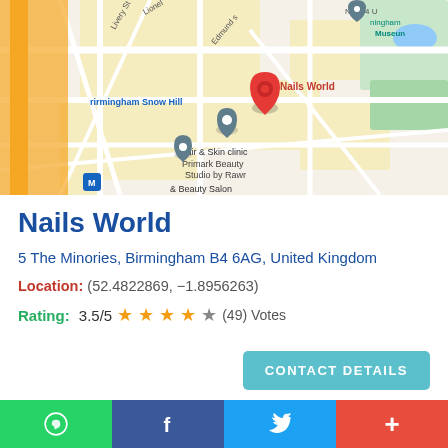[Figure (map): Google Maps screenshot showing Birmingham city centre area with a red pin marker labeled 'Nails World', grey markers for nearby businesses including Hair & Skin clinic, Primark Beauty Studio by Rawr, and a Beauty Salon. Landmarks include Birmingham Snow Hill station and Birmingham Museum visible in the upper right.]
Nails World
5 The Minories, Birmingham B4 6AG, United Kingdom
Location: (52.4822869, -1.8956263)
Rating: 3.5/5 ★★★★☆ (49) Votes
CONTACT DETAILS
WhatsApp | Facebook | Twitter | +